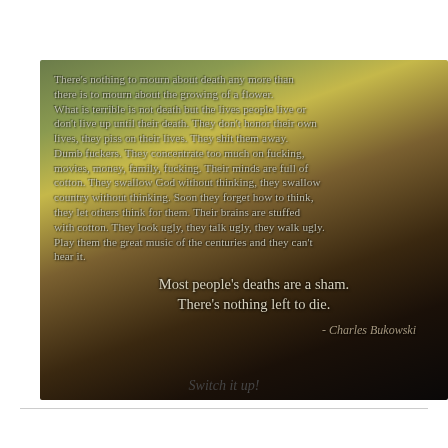[Figure (photo): A moody landscape photo (sunset/twilight) with a dark silhouette of a road and a stop sign on the left, golden-green sky blending into dark ground. Overlaid with a Charles Bukowski quote in grey/white serif text.]
Switch it up!